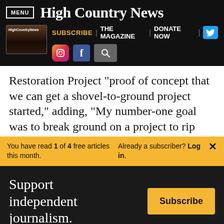MENU | High Country News
[Figure (screenshot): High Country News website navigation bar with magazine thumbnail, SUBSCRIBE, THE MAGAZINE, DONATE NOW links, Twitter button, Instagram icon, Facebook icon, and search icon]
Restoration Project “proof of concept that we can get a shovel-to-ground project started,” adding, “My number-one goal was to break ground on a project to rip
You have read 1 of 4 free articles this month. Already a subscriber? Log in. ×
Support independent journalism. Subscribe